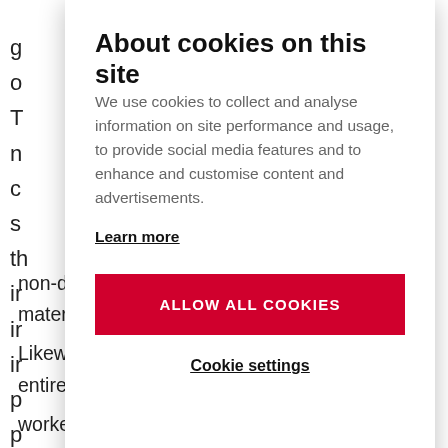g o T n c s th ir ir ir p p
About cookies on this site
We use cookies to collect and analyse information on site performance and usage, to provide social media features and to enhance and customise content and advertisements.
Learn more
ALLOW ALL COOKIES
Cookie settings
non-destructive testing and reliability and material analysis.
Likewise, graduate is also able to lead the entire team of workers in presented areas.